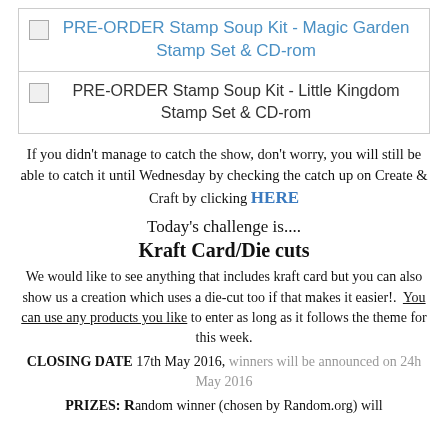[Figure (other): Broken image placeholder for PRE-ORDER Stamp Soup Kit - Magic Garden Stamp Set & CD-rom]
[Figure (other): Broken image placeholder for PRE-ORDER Stamp Soup Kit - Little Kingdom Stamp Set & CD-rom]
If you didn't manage to catch the show, don't worry, you will still be able to catch it until Wednesday by checking the catch up on Create & Craft by clicking HERE
Today's challenge is....
Kraft Card/Die cuts
We would like to see anything that includes kraft card but you can also show us a creation which uses a die-cut too if that makes it easier!. You can use any products you like to enter as long as it follows the theme for this week.
CLOSING DATE 17th May 2016, winners will be announced on 24h May 2016
PRIZES: Random winner (chosen by Random.org) will